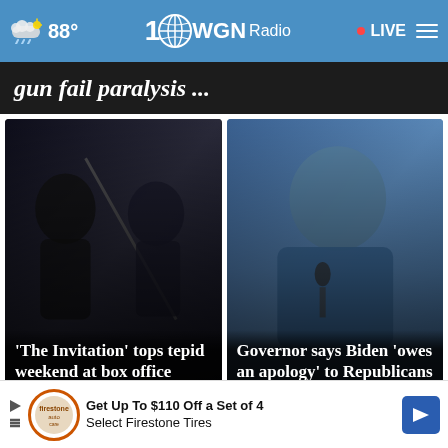88° WGN Radio 100 • LIVE
gun fail paralysis ...
[Figure (photo): Dark silhouette photo with two people in profile, overlaid with headline 'The Invitation' tops tepid weekend at box office]
[Figure (photo): Photo of a man in a blue jacket speaking at a microphone, overlaid with headline: Governor says Biden 'owes an apology' to Republicans]
Get Up To $110 Off a Set of 4 Select Firestone Tires